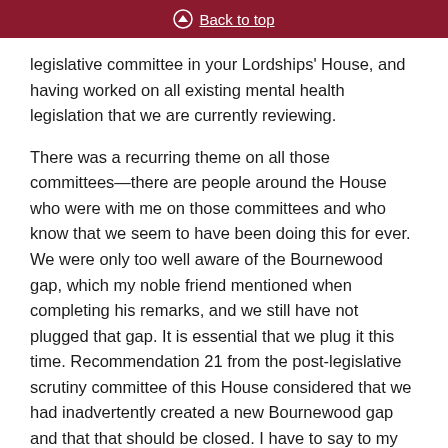Back to top
legislative committee in your Lordships' House, and having worked on all existing mental health legislation that we are currently reviewing.
There was a recurring theme on all those committees—there are people around the House who were with me on those committees and who know that we seem to have been doing this for ever. We were only too well aware of the Bournewood gap, which my noble friend mentioned when completing his remarks, and we still have not plugged that gap. It is essential that we plug it this time. Recommendation 21 from the post-legislative scrutiny committee of this House considered that we had inadvertently created a new Bournewood gap and that that should be closed. I have to say to my